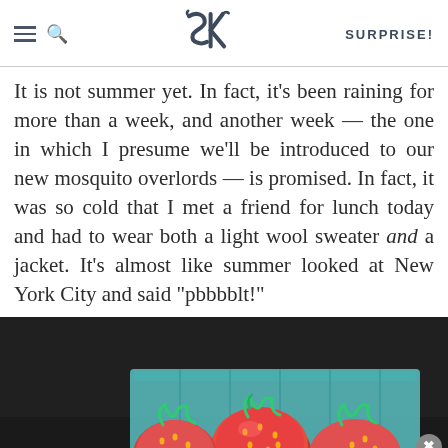SK SURPRISE!
It is not summer yet. In fact, it’s been raining for more than a week, and another week — the one in which I presume we’ll be introduced to our new mosquito overlords — is promised. In fact, it was so cold that I met a friend for lunch today and had to wear both a light wool sweater and a jacket. It’s almost like summer looked at New York City and said “pbbbblt!”
[Figure (photo): Close-up photo of fresh red strawberries in a blue/teal cardboard pint container, set against a dark background. An advertisement overlay appears at the bottom: 'Discover the unsearchable / DiscoverTheForest.org' with small ad and USFS badges, a microphone icon, and a small photo of hikers in a forest. A close (X) button appears at top right of the ad.]